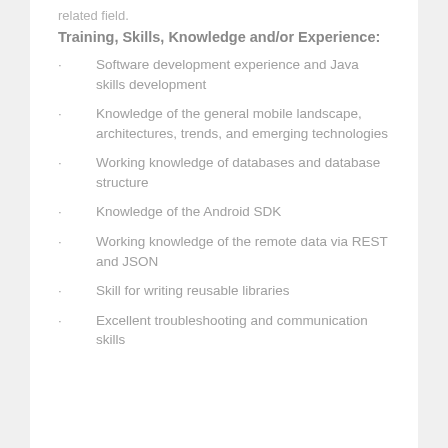related field.
Training,  Skills, Knowledge and/or Experience:
Software development experience and Java  skills development
Knowledge of the  general mobile landscape, architectures, trends, and emerging technologies
Working  knowledge of databases and database structure
Knowledge of the  Android  SDK
Working  knowledge of the  remote data via REST and  JSON
Skill for writing  reusable libraries
Excellent troubleshooting and communication skills